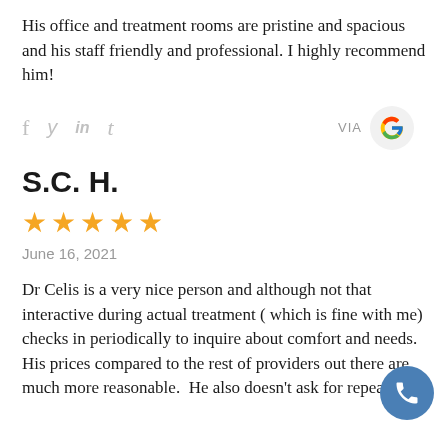His office and treatment rooms are pristine and spacious and his staff friendly and professional. I highly recommend him!
S.C. H.
★★★★★
June 16, 2021
Dr Celis is a very nice person and although not that interactive during actual treatment ( which is fine with me) checks in periodically to inquire about comfort and needs.  His prices compared to the rest of providers out there are much more reasonable.  He also doesn't ask for repeat